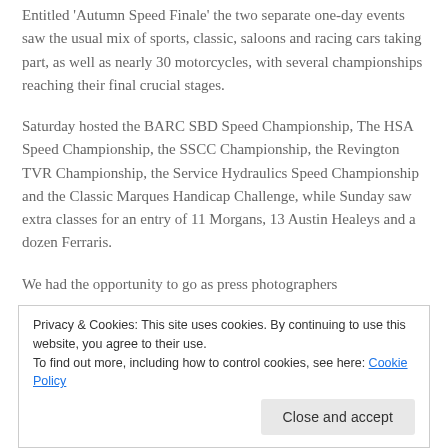Entitled 'Autumn Speed Finale' the two separate one-day events saw the usual mix of sports, classic, saloons and racing cars taking part, as well as nearly 30 motorcycles, with several championships reaching their final crucial stages.
Saturday hosted the BARC SBD Speed Championship, The HSA Speed Championship, the SSCC Championship, the Revington TVR Championship, the Service Hydraulics Speed Championship and the Classic Marques Handicap Challenge, while Sunday saw extra classes for an entry of 11 Morgans, 13 Austin Healeys and a dozen Ferraris.
We had the opportunity to go as press photographers
Privacy & Cookies: This site uses cookies. By continuing to use this website, you agree to their use.
To find out more, including how to control cookies, see here: Cookie Policy
Close and accept